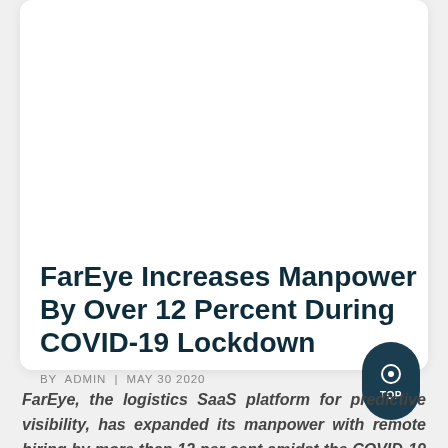FarEye Increases Manpower By Over 12 Percent During COVID-19 Lockdown
BY ADMIN | MAY 30 2020
FarEye, the logistics SaaS platform for predictive visibility, has expanded its manpower with remote hiring by more than 12 per cent amidst the COVID-19 outbreak.